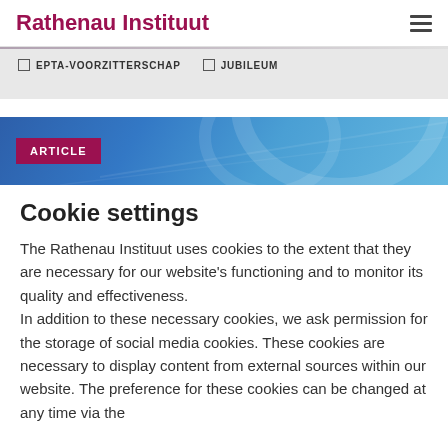Rathenau Instituut
EPTA-VOORZITTERSCHAP   JUBILEUM
[Figure (other): Blue gradient article banner with 'ARTICLE' label tag in dark red/maroon]
Cookie settings
The Rathenau Instituut uses cookies to the extent that they are necessary for our website's functioning and to monitor its quality and effectiveness. In addition to these necessary cookies, we ask permission for the storage of social media cookies. These cookies are necessary to display content from external sources within our website. The preference for these cookies can be changed at any time via the cookie settings.